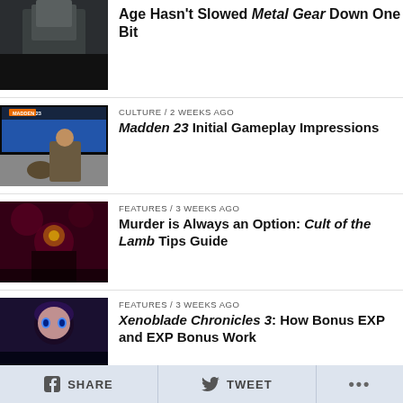[Figure (photo): Partial top of article thumbnail - character in military jacket]
Age Hasn't Slowed Metal Gear Down One Bit
[Figure (photo): Madden 23 game cover thumbnail]
CULTURE / 2 weeks ago
Madden 23 Initial Gameplay Impressions
[Figure (photo): Cult of the Lamb thumbnail - dark red floral background]
FEATURES / 3 weeks ago
Murder is Always an Option: Cult of the Lamb Tips Guide
[Figure (photo): Xenoblade Chronicles 3 character thumbnail - anime style]
FEATURES / 3 weeks ago
Xenoblade Chronicles 3: How Bonus EXP and EXP Bonus Work
[Figure (photo): Xenoblade Chronicles 3 Nopon coins thumbnail]
FEATURES / 3 weeks ago
Where to Find and Use Nopon Coins in Xenoblade Chronicles 3
f SHARE   TWEET   ...